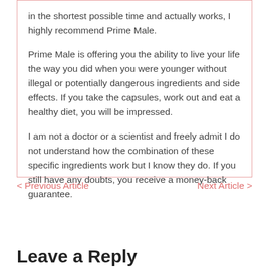in the shortest possible time and actually works, I highly recommend Prime Male.
Prime Male is offering you the ability to live your life the way you did when you were younger without illegal or potentially dangerous ingredients and side effects. If you take the capsules, work out and eat a healthy diet, you will be impressed.
I am not a doctor or a scientist and freely admit I do not understand how the combination of these specific ingredients work but I know they do. If you still have any doubts, you receive a money-back guarantee.
< Previous Article
Next Article >
Leave a Reply